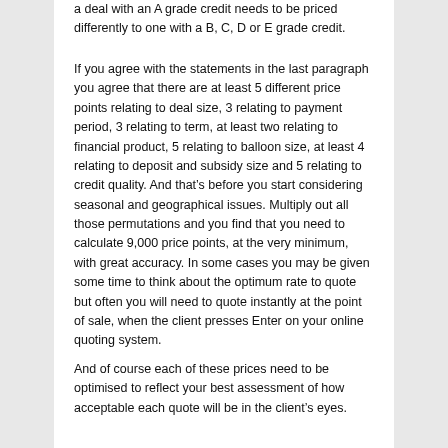a deal with an A grade credit needs to be priced differently to one with a B, C, D or E grade credit.
If you agree with the statements in the last paragraph you agree that there are at least 5 different price points relating to deal size, 3 relating to payment period, 3 relating to term, at least two relating to financial product, 5 relating to balloon size, at least 4 relating to deposit and subsidy size and 5 relating to credit quality. And that's before you start considering seasonal and geographical issues. Multiply out all those permutations and you find that you need to calculate 9,000 price points, at the very minimum, with great accuracy. In some cases you may be given some time to think about the optimum rate to quote but often you will need to quote instantly at the point of sale, when the client presses Enter on your online quoting system.
And of course each of these prices need to be optimised to reflect your best assessment of how acceptable each quote will be in the client's eyes.